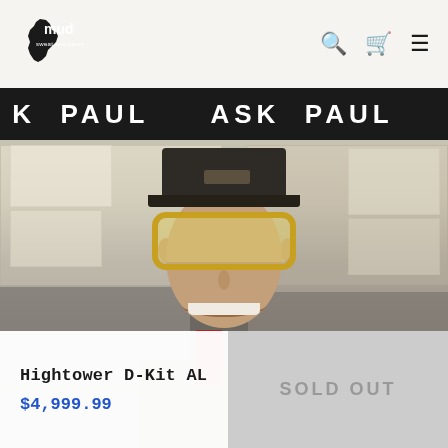mud sweat and gears — navigation header with logo, search, cart, and menu icons
K  PAUL    ASK  PAUL    ASK  PAUL    A
[Figure (photo): A smiling man wearing yellow-framed Oakley goggles and a dark baseball cap, standing in front of shelving with cardboard boxes in a warehouse/shop environment]
Hightower D-Kit AL
$4,999.99
SOLD OUT